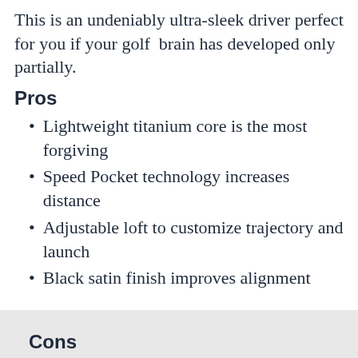This is an undeniably ultra-sleek driver perfect for you if your golf brain has developed only partially.
Pros
Lightweight titanium core is the most forgiving
Speed Pocket technology increases distance
Adjustable loft to customize trajectory and launch
Black satin finish improves alignment
Cons